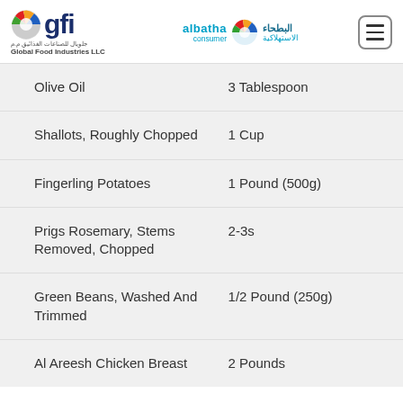[Figure (logo): GFI Global Food Industries LLC logo with globe icon and Arabic text]
[Figure (logo): Albatha Consumer logo with globe icon and Arabic text]
| Ingredient | Amount |
| --- | --- |
| Olive Oil | 3 Tablespoon |
| Shallots, Roughly Chopped | 1 Cup |
| Fingerling Potatoes | 1 Pound (500g) |
| Prigs Rosemary, Stems Removed, Chopped | 2-3s |
| Green Beans, Washed And Trimmed | 1/2 Pound (250g) |
| Al Areesh Chicken Breast | 2 Pounds |